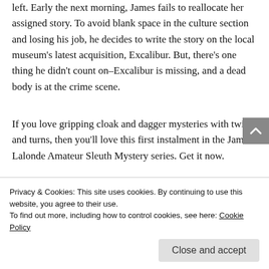left. Early the next morning, James fails to reallocate her assigned story. To avoid blank space in the culture section and losing his job, he decides to write the story on the local museum's latest acquisition, Excalibur. But, there's one thing he didn't count on–Excalibur is missing, and a dead body is at the crime scene.
If you love gripping cloak and dagger mysteries with twists and turns, then you'll love this first instalment in the James Lalonde Amateur Sleuth Mystery series. Get it now.
Privacy & Cookies: This site uses cookies. By continuing to use this website, you agree to their use.
To find out more, including how to control cookies, see here: Cookie Policy
Close and accept